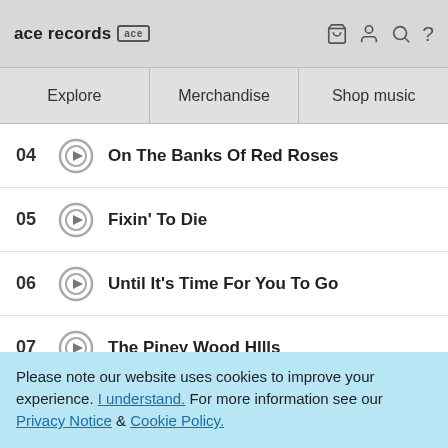ace records [ace logo] — icons: basket, user, search, ?
Explore | Merchandise | Shop music
04 On The Banks Of Red Roses
05 Fixin' To Die
06 Until It's Time For You To Go
07 The Piney Wood Hills
08 Welcome Welcome Emigrante
09 Broke-Down Girl
Please note our website uses cookies to improve your experience. I understand. For more information see our Privacy Notice & Cookie Policy.